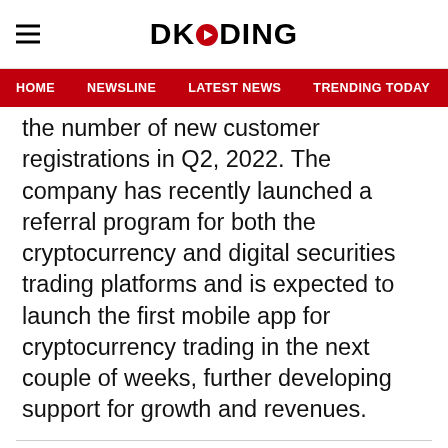DKODING
HOME  NEWSLINE  LATEST NEWS  TRENDING TODAY  ENT
the number of new customer registrations in Q2, 2022. The company has recently launched a referral program for both the cryptocurrency and digital securities trading platforms and is expected to launch the first mobile app for cryptocurrency trading in the next couple of weeks, further developing support for growth and revenues.
ADVERTISEMENT
[Figure (other): Gray advertisement placeholder box]